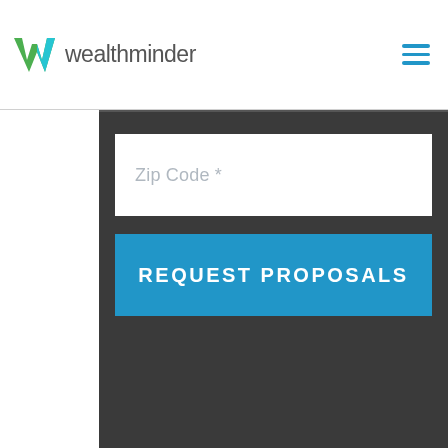wealthminder
[Figure (screenshot): Wealthminder website form with a Zip Code input field and a blue REQUEST PROPOSALS button on a dark background panel]